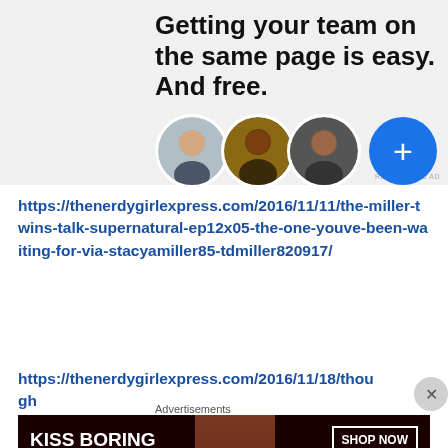[Figure (screenshot): Advertisement banner with text 'Getting your team on the same page is easy. And free.' with three profile photo avatars and a blue plus button, on light gray background. 'REPORT THIS AD' label at bottom right.]
https://thenerdygirlexpress.com/2016/11/11/the-miller-twins-talk-supernatural-ep12x05-the-one-youve-been-waiting-for-via-stacyamiller85-tdmiller820917/
https://thenerdygirlexpress.com/2016/11/18/though
[Figure (screenshot): Macy's advertisement banner: 'KISS BORING LIPS GOODBYE' with woman's face showing red lips and 'SHOP NOW ★ macys' button on dark red/black background.]